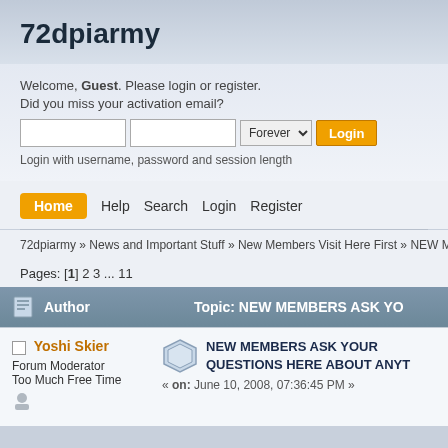72dpiarmy
Welcome, Guest. Please login or register. Did you miss your activation email?
Login with username, password and session length
Home  Help  Search  Login  Register
72dpiarmy » News and Important Stuff » New Members Visit Here First » NEW MEMBE
Pages: [1] 2 3 ... 11
| Author | Topic: NEW MEMBERS ASK YO |
| --- | --- |
Yoshi Skier
Forum Moderator
Too Much Free Time
NEW MEMBERS ASK YOUR QUESTIONS HERE ABOUT ANYT
« on: June 10, 2008, 07:36:45 PM »